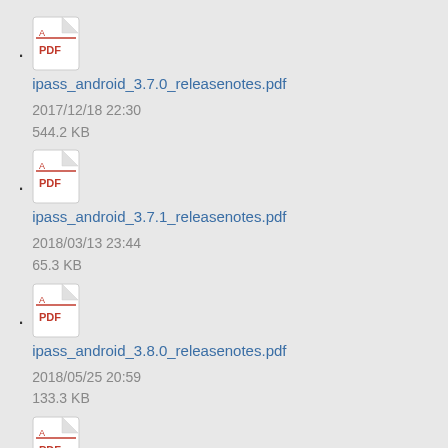ipass_android_3.7.0_releasenotes.pdf
2017/12/18 22:30
544.2 KB
ipass_android_3.7.1_releasenotes.pdf
2018/03/13 23:44
65.3 KB
ipass_android_3.8.0_releasenotes.pdf
2018/05/25 20:59
133.3 KB
ipass_android_3.9.0_releasenotes.pdf